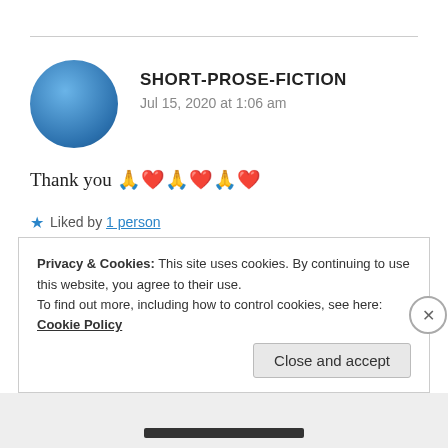[Figure (illustration): Blue circular avatar image representing user SHORT-PROSE-FICTION]
SHORT-PROSE-FICTION
Jul 15, 2020 at 1:06 am
Thank you 🙏❤️🙏❤️🙏❤️
★ Liked by 1 person
REPLY
Privacy & Cookies: This site uses cookies. By continuing to use this website, you agree to their use.
To find out more, including how to control cookies, see here: Cookie Policy
Close and accept